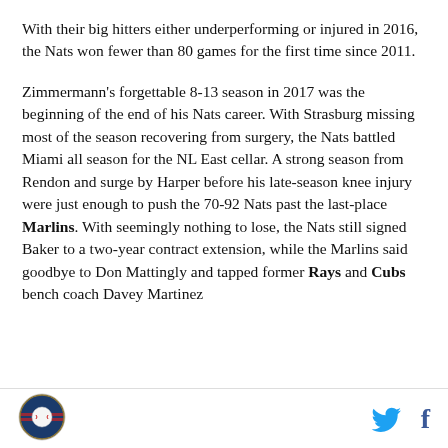With their big hitters either underperforming or injured in 2016, the Nats won fewer than 80 games for the first time since 2011.
Zimmermann's forgettable 8-13 season in 2017 was the beginning of the end of his Nats career. With Strasburg missing most of the season recovering from surgery, the Nats battled Miami all season for the NL East cellar. A strong season from Rendon and surge by Harper before his late-season knee injury were just enough to push the 70-92 Nats past the last-place Marlins. With seemingly nothing to lose, the Nats still signed Baker to a two-year contract extension, while the Marlins said goodbye to Don Mattingly and tapped former Rays and Cubs bench coach Davey Martinez
[Figure (logo): Circular logo with baseball and American flag imagery]